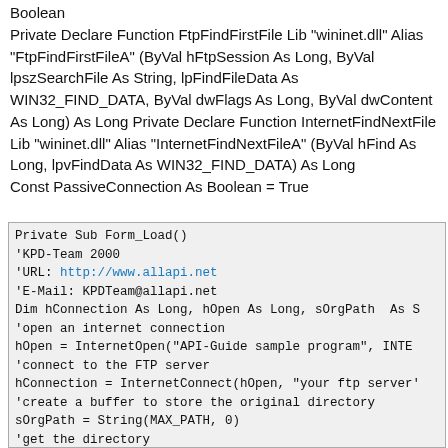Boolean
Private Declare Function FtpFindFirstFile Lib "wininet.dll" Alias "FtpFindFirstFileA" (ByVal hFtpSession As Long, ByVal lpszSearchFile As String, lpFindFileData As WIN32_FIND_DATA, ByVal dwFlags As Long, ByVal dwContent As Long) As Long
Private Declare Function InternetFindNextFile Lib "wininet.dll" Alias "InternetFindNextFileA" (ByVal hFind As Long, lpvFindData As WIN32_FIND_DATA) As Long
Const PassiveConnection As Boolean = True
[Figure (screenshot): Code block showing VB Private Sub Form_Load() with comments and code lines including KPD-Team 2000, URL, E-Mail, Dim hConnection, hOpen = InternetOpen, hConnection = InternetConnect, sOrgPath = String(MAX_PATH, 0), FtpGetCurrentDirectory, and a comment about creating a new directory 'testing']